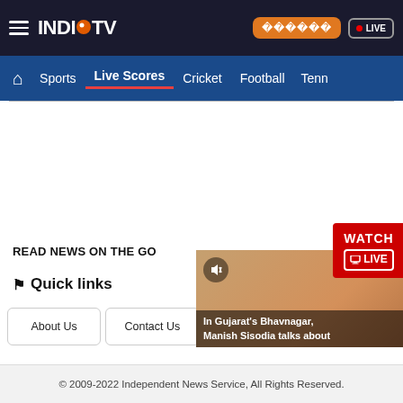[Figure (screenshot): India TV logo with hamburger menu, Hindi button, and LIVE TV badge in dark navy top bar]
[Figure (screenshot): Navigation bar with Home icon, Sports, Live Scores (active/underlined), Cricket, Football, Tenn... on blue background]
[Figure (screenshot): WATCH LIVE red badge and video thumbnail showing a person speaking with caption 'In Gujarat's Bhavnagar, Manish Sisodia talks about']
READ NEWS ON THE GO
Android  iOS
Quick links
About Us
Contact Us
Mobile Zone
Advertise
© 2009-2022 Independent News Service, All Rights Reserved.